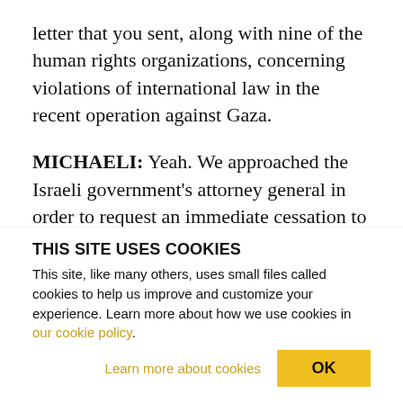letter that you sent, along with nine of the human rights organizations, concerning violations of international law in the recent operation against Gaza.
MICHAELI: Yeah. We approached the Israeli government's attorney general in order to request an immediate cessation to attacks and military actions in the Gaza Strip that we would classify as raising serious concerns for violations of international law humanitarian law, and additionally a demand to set
THIS SITE USES COOKIES
This site, like many others, uses small files called cookies to help us improve and customize your experience. Learn more about how we use cookies in our cookie policy.
Learn more about cookies
OK